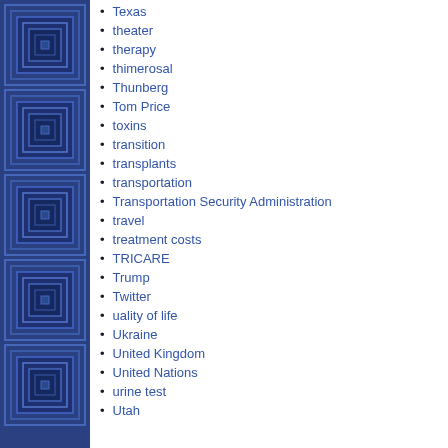Texas
theater
therapy
thimerosal
Thunberg
Tom Price
toxins
transition
transplants
transportation
Transportation Security Administration
travel
treatment costs
TRICARE
Trump
Twitter
uality of life
Ukraine
United Kingdom
United Nations
urine test
Utah